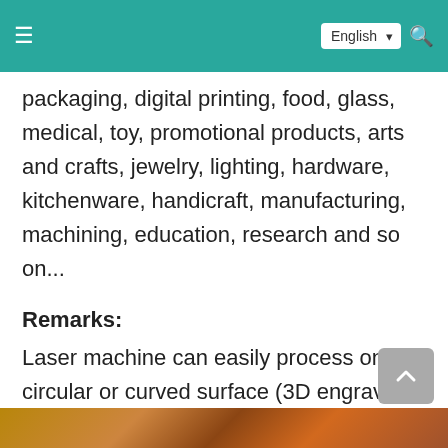English
packaging, digital printing, food, glass, medical, toy, promotional products, arts and crafts, jewelry, lighting, hardware, kitchenware, handicraft, manufacturing, machining, education, research and so on...
Remarks:
Laser machine can easily process on circular or curved surface (3D engraving, or 3D marking) with a rotary device attached. Rotary attachment is suitable for both laser cutting machine, laser engraving machine and laser marking machine.